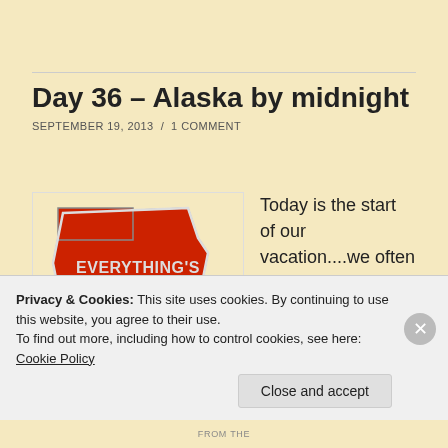Day 36 – Alaska by midnight
SEPTEMBER 19, 2013 / 1 COMMENT
[Figure (photo): A red Texas-shaped pin/badge with the text EVERYTHING'S BIGGER IN TEXAS written on it]
Today is the start of our vacation....we often get days away, in between events, but during the season
Privacy & Cookies: This site uses cookies. By continuing to use this website, you agree to their use.
To find out more, including how to control cookies, see here: Cookie Policy
Close and accept